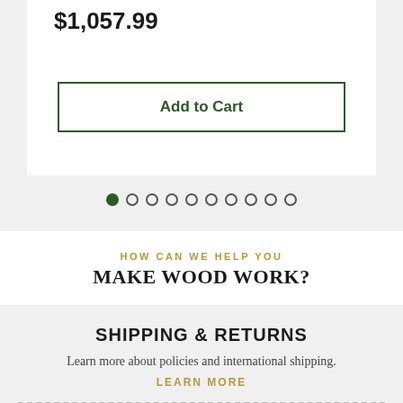$1,057.99
Add to Cart
[Figure (other): Carousel pagination dots: first dot filled (dark green), followed by 9 empty circular dots]
HOW CAN WE HELP YOU
MAKE WOOD WORK?
SHIPPING & RETURNS
Learn more about policies and international shipping.
LEARN MORE
CUSTOMER CARE